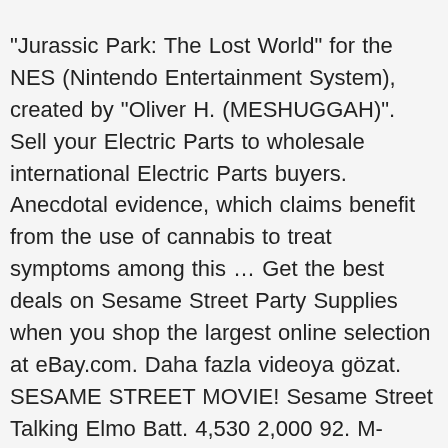"Jurassic Park: The Lost World" for the NES (Nintendo Entertainment System), created by "Oliver H. (MESHUGGAH)". Sell your Electric Parts to wholesale international Electric Parts buyers. Anecdotal evidence, which claims benefit from the use of cannabis to treat symptoms among this … Get the best deals on Sesame Street Party Supplies when you shop the largest online selection at eBay.com. Daha fazla videoya gözat. SESAME STREET MOVIE! Sesame Street Talking Elmo Batt. 4,530 2,000 92. M-DCPS – Department of Mental Health Services . Dec 7, 2018 12/18. Results 301 - 360 of 7734. Play-Doh GIANT Lego Head SPIDER MAN Makeover! 13,90 € le pingouin / batman / figurine funko pop. Famous People Actors Singers Writers Linda writes down a thank you to Edith (who can't understand